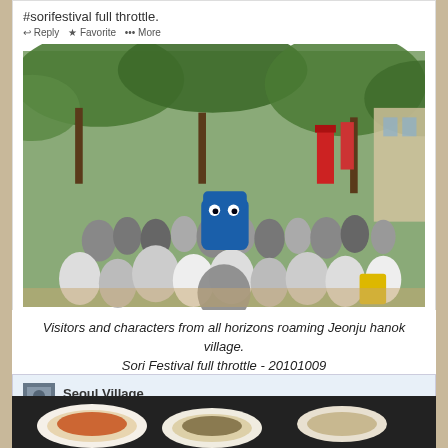#sorifestival full throttle.
[Figure (photo): Crowd scene at Jeonju hanok village during Sori Festival, showing many visitors and a blue character mascot among trees and festival banners]
12:46 PM - 9 Oct 2014
Visitors and characters from all horizons roaming Jeonju hanok village. Sori Festival full throttle - 20101009
twitter.com/theseoulvillage/status/520057631625314304
Seoul Village @theseoulvillage
Aaah #Jeonju... special mention for the #doenjang (with the zucchini leaves, bottom left) #Koreanfood
[Figure (photo): Preview image of Korean food dishes including doenjang]